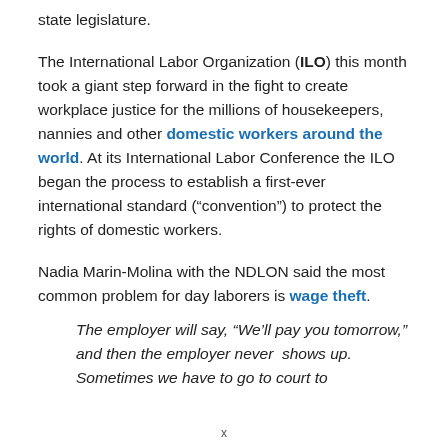state legislature.
The International Labor Organization (ILO) this month took a giant step forward in the fight to create workplace justice for the millions of housekeepers, nannies and other domestic workers around the world. At its International Labor Conference the ILO began the process to establish a first-ever international standard (“convention”) to protect the rights of domestic workers.
Nadia Marin-Molina with the NDLON said the most common problem for day laborers is wage theft.
The employer will say, “We’ll pay you tomorrow,” and then the employer never shows up. Sometimes we have to go to court to
x